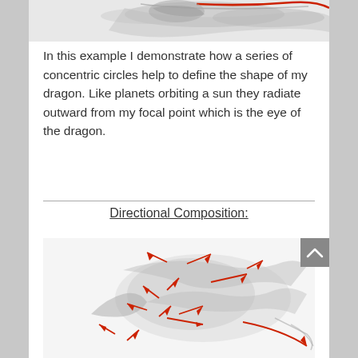[Figure (illustration): Top portion of a pencil sketch illustration of a dragon with a red curved line overlaid, partially visible at the top of the page.]
In this example I demonstrate how a series of concentric circles help to define the shape of my dragon.  Like planets orbiting a sun they radiate outward from my focal point which is the eye of the dragon.
Directional Composition:
[Figure (illustration): Pencil sketch illustration of a dragon with multiple red arrows showing directional composition lines radiating from the body outward.]